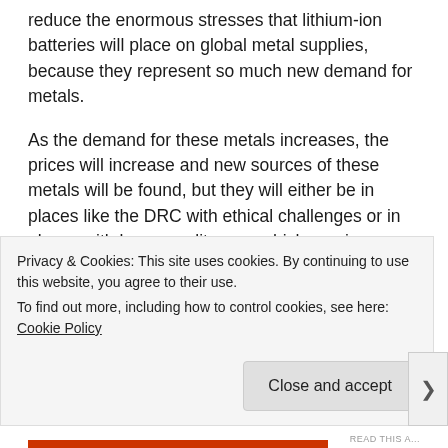reduce the enormous stresses that lithium-ion batteries will place on global metal supplies, because they represent so much new demand for metals.
As the demand for these metals increases, the prices will increase and new sources of these metals will be found, but they will either be in places like the DRC with ethical challenges or in places with lower quality ores which require more energy and resources to extract and refine. We can expect more energy-intensive mining of spodumene and more strip mining of laterite ores which cause more ecological disruption. The ocean floor has enormous quantities of manganese, nickel, copper and cobalt, but the
Privacy & Cookies: This site uses cookies. By continuing to use this website, you agree to their use.
To find out more, including how to control cookies, see here: Cookie Policy
Close and accept